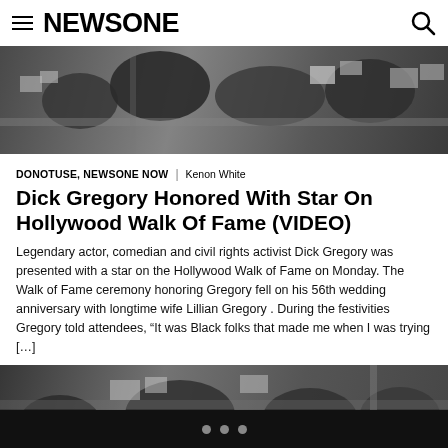NEWSONE
[Figure (photo): Aerial black-and-white photograph of a suburban neighborhood with houses and trees]
DONOTUSE, NEWSONE NOW | Kenon White
Dick Gregory Honored With Star On Hollywood Walk Of Fame (VIDEO)
Legendary actor, comedian and civil rights activist Dick Gregory was presented with a star on the Hollywood Walk of Fame on Monday. The Walk of Fame ceremony honoring Gregory fell on his 56th wedding anniversary with longtime wife Lillian Gregory . During the festivities Gregory told attendees, “It was Black folks that made me when I was trying […]
[Figure (photo): Aerial black-and-white photograph of a suburban neighborhood with roads and trees]
• • •